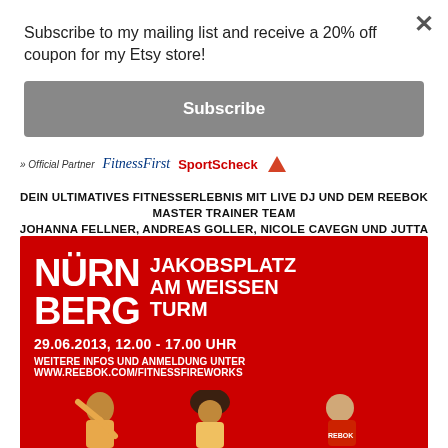Subscribe to my mailing list and receive a 20% off coupon for my Etsy store!
Subscribe
[Figure (infographic): Official Partner logos: Fitness First and Sport Scheck]
DEIN ULTIMATIVES FITNESSERLEBNIS MIT LIVE DJ UND DEM REEBOK MASTER TRAINER TEAM JOHANNA FELLNER, ANDREAS GOLLER, NICOLE CAVEGN UND JUTTA SCHUHN
[Figure (infographic): Red Reebok Fitness Fireworks banner for Nürnberg event: NÜRNBERG JAKOBSPLATZ AM WEISSEN TURM, 29.06.2013, 12.00 - 17.00 UHR, WEITERE INFOS UND ANMELDUNG UNTER WWW.REEBOK.COM/FITNESSFIREWORKS]
[Figure (photo): People exercising/dancing at fitness event, bottom of page]